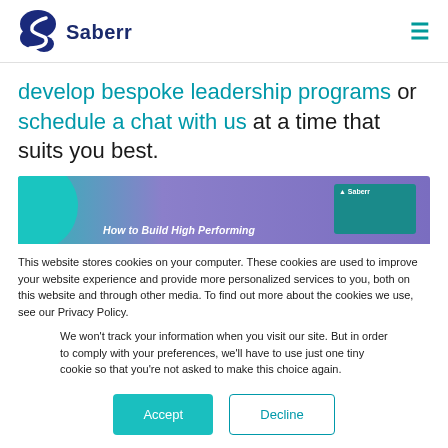Saberr
develop bespoke leadership programs or schedule a chat with us at a time that suits you best.
[Figure (screenshot): Partial screenshot of a Saberr webpage showing a banner with 'How to Build High Performing' text on a purple/teal gradient background]
This website stores cookies on your computer. These cookies are used to improve your website experience and provide more personalized services to you, both on this website and through other media. To find out more about the cookies we use, see our Privacy Policy.
We won't track your information when you visit our site. But in order to comply with your preferences, we'll have to use just one tiny cookie so that you're not asked to make this choice again.